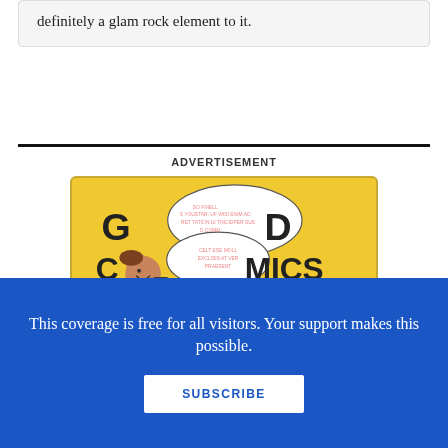definitely a glam rock element to it.
ADVERTISEMENT
[Figure (illustration): Good Comics for Kids advertisement banner with yellow background, cartoon girl character, speech bubbles with lorem ipsum placeholder text, showing 'GOOD COMICS for KIDS' text]
This coverage is free for all visitors. Your support makes this possible.
SUBSCRIBE